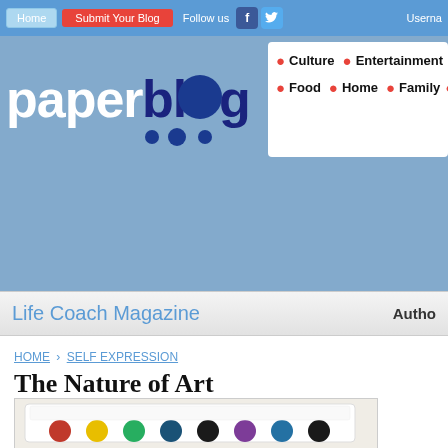Home | Submit Your Blog | Follow us | Username
[Figure (logo): Paperblog logo: 'paper' in white bold lowercase and 'blog' in dark blue bold with stylized 'o' as blue circle and three blue dots beneath]
Culture • Entertainment • So... • Food • Home • Family • S...
[Figure (photo): Blue banner/advertisement area]
Life Coach Magazine   Author
HOME › SELF EXPRESSION
The Nature of Art
By Writerinterrupted @writerinterrupt
[Figure (photo): Photo of a watercolor paint palette with multiple colors including red, yellow, green, and black pans, some used, on a white background]